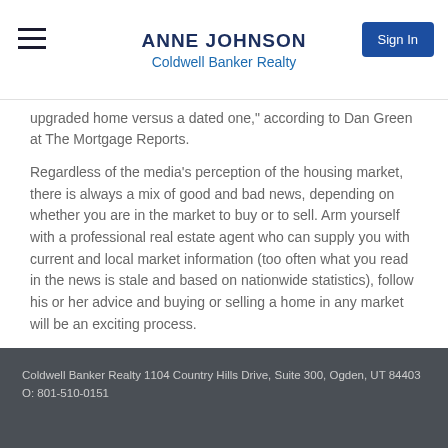ANNE JOHNSON
Coldwell Banker Realty
upgraded home versus a dated one," according to Dan Green at The Mortgage Reports.
Regardless of the media's perception of the housing market, there is always a mix of good and bad news, depending on whether you are in the market to buy or to sell. Arm yourself with a professional real estate agent who can supply you with current and local market information (too often what you read in the news is stale and based on nationwide statistics), follow his or her advice and buying or selling a home in any market will be an exciting process.
Coldwell Banker Realty 1104 Country Hills Drive, Suite 300, Ogden, UT 84403 O: 801-510-0151